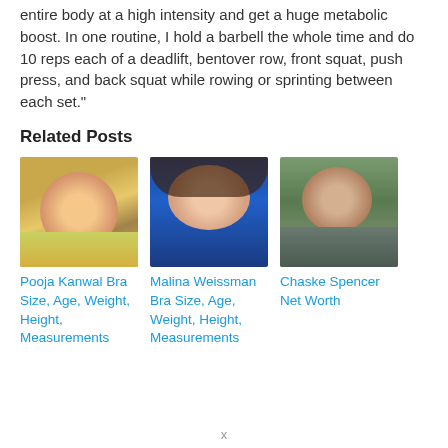entire body at a high intensity and get a huge metabolic boost. In one routine, I hold a barbell the whole time and do 10 reps each of a deadlift, bentover row, front squat, push press, and back squat while rowing or sprinting between each set.”
Related Posts
[Figure (photo): Photo of Pooja Kanwal wearing a straw hat and yellow top outdoors]
Pooja Kanwal Bra Size, Age, Weight, Height, Measurements
[Figure (photo): Photo of Malina Weissman with long brown hair against blue background]
Malina Weissman Bra Size, Age, Weight, Height, Measurements
[Figure (photo): Photo of Chaske Spencer holding a microphone, smiling, wearing a grey hoodie outdoors]
Chaske Spencer Net Worth